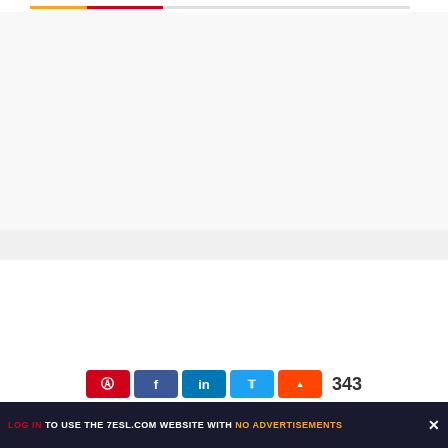[Figure (screenshot): Website screenshot showing idiom educational resources: Famous American Idioms chart, English Idioms PDF, and Dog Idioms infographic]
LOG IN TO USE THE 7ESL.COM WEBSITE WITH NO ADVERTISEMENTS